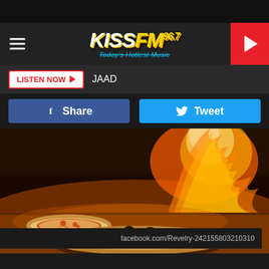KISS FM 96.7 - Today's Hottest Music
LISTEN NOW  JAAD
Share  Tweet
[Figure (photo): Two pizzas baking in a wood-fired oven with visible flames in the background]
facebook.com/Revelry-242155803210310